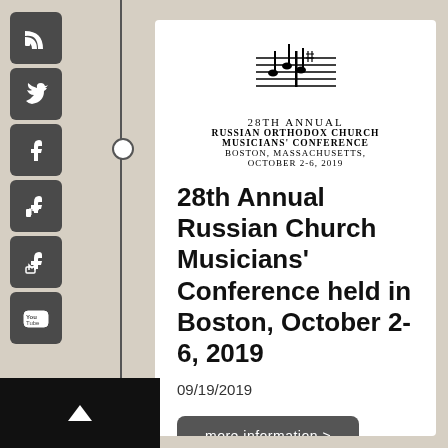[Figure (logo): Musical notes logo for Russian Orthodox Church Musicians Conference]
28TH ANNUAL
RUSSIAN ORTHODOX CHURCH MUSICIANS' CONFERENCE
BOSTON, MASSACHUSETTS,
OCTOBER 2-6, 2019
28th Annual Russian Church Musicians' Conference held in Boston, October 2-6, 2019
09/19/2019
more information >